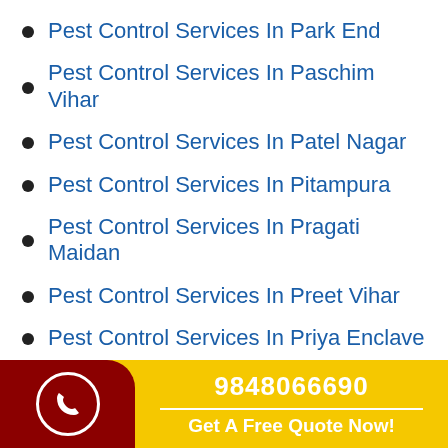Pest Control Services In Park End
Pest Control Services In Paschim Vihar
Pest Control Services In Patel Nagar
Pest Control Services In Pitampura
Pest Control Services In Pragati Maidan
Pest Control Services In Preet Vihar
Pest Control Services In Priya Enclave
Pest Control Services In Punjabi Bagh
Pest Control Services In Rajouri Garden
9848066690
Get A Free Quote Now!